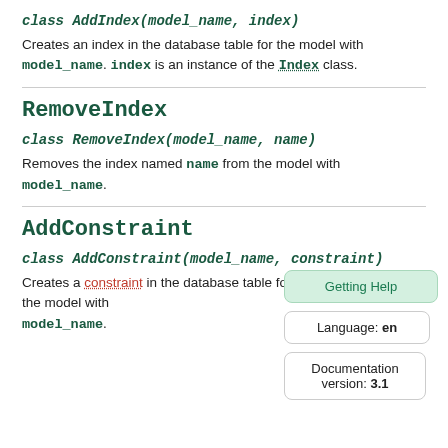class AddIndex(model_name, index)
Creates an index in the database table for the model with model_name. index is an instance of the Index class.
RemoveIndex
class RemoveIndex(model_name, name)
Removes the index named name from the model with model_name.
AddConstraint
class AddConstraint(model_name, constraint)
Creates a constraint in the database table for the model with model_name.
Getting Help
Language: en
Documentation version: 3.1